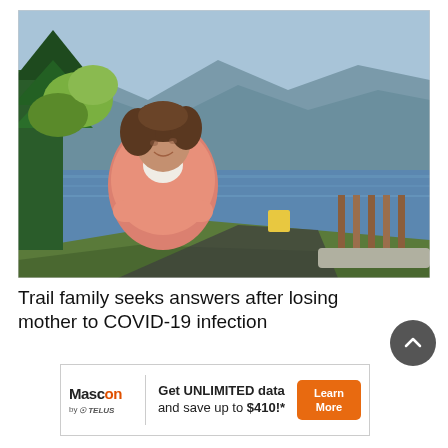[Figure (photo): Woman with curly brown hair wearing a pink jacket standing with arms crossed, smiling, in front of a large lake with mountains in the background. Green trees to the left, a wooden dock structure and concrete pier visible to the right, a yellow sign in the mid-ground.]
Trail family seeks answers after losing mother to COVID-19 infection
[Figure (logo): Advertisement banner: Mascon by TELUS logo on the left. Text: Get UNLIMITED data and save up to $410!* Learn More button in orange.]